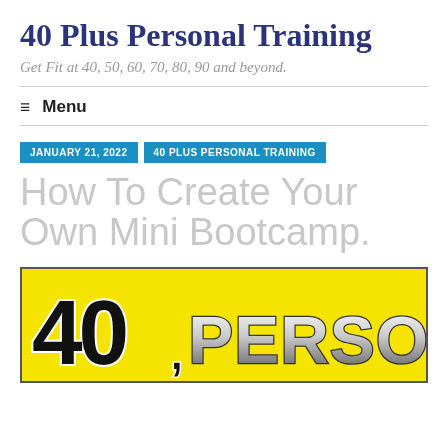40 Plus Personal Training
Get Fit at 40, 50, 60, 70, 80, 90 and beyond.
≡ Menu
JANUARY 21, 2022
40 PLUS PERSONAL TRAINING
How To Create Your Own Mini Bootcamp.
[Figure (logo): 40 Plus Personal Training logo on yellow background with large bold text '40+' and 'PERSONAL']